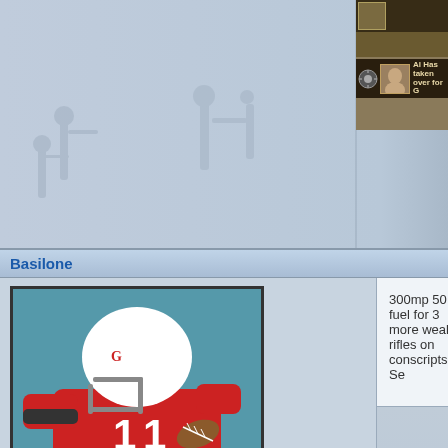[Figure (screenshot): Top section showing a war/strategy game screenshot with background soldier silhouettes and a game UI overlay in the top right showing 'Al Has taken over for G' with game portrait icons]
Basilone
[Figure (photo): Profile avatar showing a football quarterback in a red uniform and white helmet throwing a pass]
Posts: 1939 | Subs: 2
300mp 50 fuel for 3 more weak rifles on conscripts? Se
heeroduo
[Figure (photo): Dark/black profile avatar image]
like Estern front 🙂
and i agree need TankTrap.